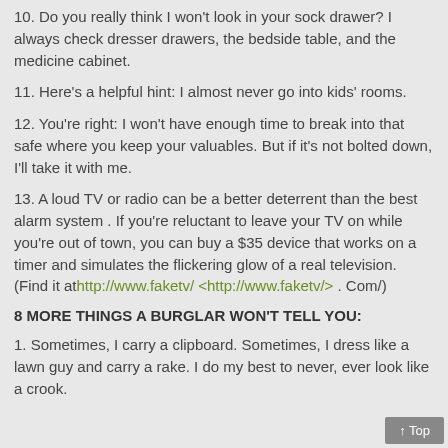10. Do you really think I won't look in your sock drawer? I always check dresser drawers, the bedside table, and the medicine cabinet.
11. Here's a helpful hint: I almost never go into kids' rooms.
12. You're right: I won't have enough time to break into that safe where you keep your valuables. But if it's not bolted down, I'll take it with me.
13. A loud TV or radio can be a better deterrent than the best alarm system . If you're reluctant to leave your TV on while you're out of town, you can buy a $35 device that works on a timer and simulates the flickering glow of a real television. (Find it athttp://www.faketv/ <http://www.faketv/> . Com/)
8 MORE THINGS A BURGLAR WON'T TELL YOU:
1. Sometimes, I carry a clipboard. Sometimes, I dress like a lawn guy and carry a rake. I do my best to never, ever look like a crook.